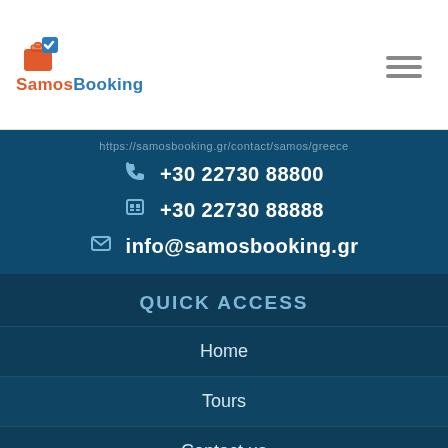SamosBooking
+30 22730 88800
+30 22730 88888
info@samosbooking.gr
QUICK ACCESS
Home
Tours
Contact us
Terms and Conditions
Privacy Policy